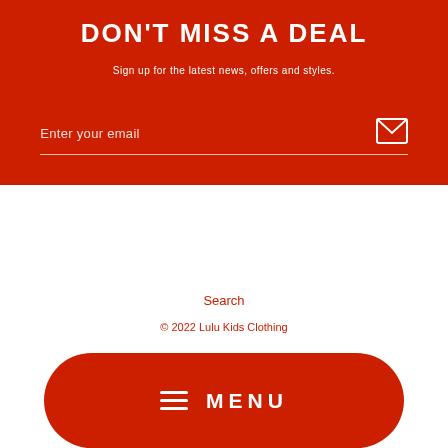DON'T MISS A DEAL
Sign up for the latest news, offers and styles.
Enter your email
Search
© 2022 Lulu Kids Clothing
≡  MENU